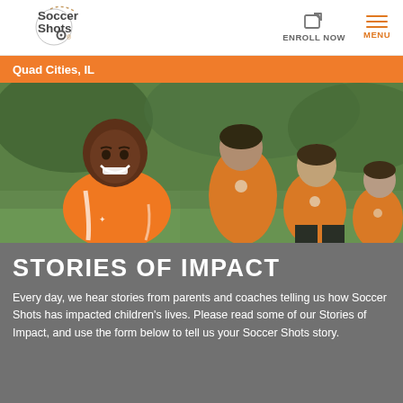Soccer Shots — ENROLL NOW | MENU
Quad Cities, IL
[Figure (photo): Children in orange soccer jerseys sitting on grass field. A smiling young boy in the foreground with other children seated behind him.]
STORIES OF IMPACT
Every day, we hear stories from parents and coaches telling us how Soccer Shots has impacted children's lives. Please read some of our Stories of Impact, and use the form below to tell us your Soccer Shots story.